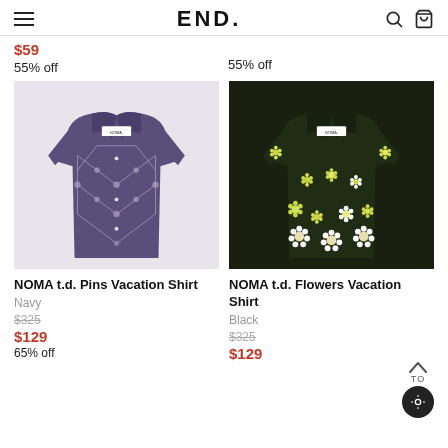END.
$59
55% off
55% off
[Figure (photo): Purple/navy short-sleeve vacation shirt with geometric chain/pin pattern (NOMA t.d. brand label visible)]
[Figure (photo): Black short-sleeve vacation shirt with floral/daisy pattern in white and yellow-green (NOMA t.d. brand label visible)]
NOMA t.d. Pins Vacation Shirt
Navy
$325
$129
65% off
NOMA t.d. Flowers Vacation Shirt
Black
$325
$129